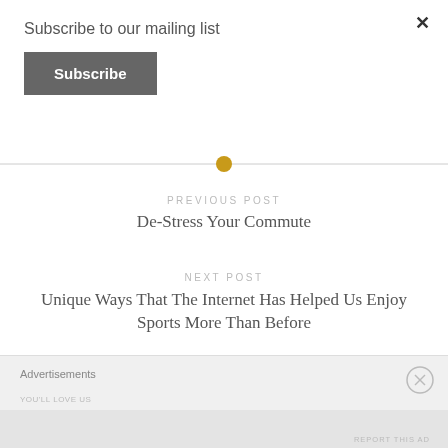Subscribe to our mailing list
Subscribe
×
PREVIOUS POST
De-Stress Your Commute
NEXT POST
Unique Ways That The Internet Has Helped Us Enjoy Sports More Than Before
Advertisements
REPORT THIS AD